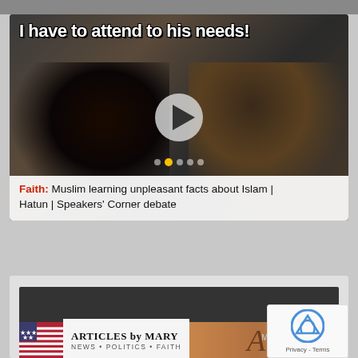[Figure (screenshot): Video thumbnail with bold white text 'I have to attend to his needs!' over a dark photo of people, with a play button overlay]
Faith: Muslim learning unpleasant facts about Islam | Hatun | Speakers' Corner debate
[Figure (screenshot): Partial screenshot of a webpage section showing 'ARTICLES by MARY NEWS • POLITICS • FAITH' banner with US flag, and a reCAPTCHA widget with Privacy and Terms text]